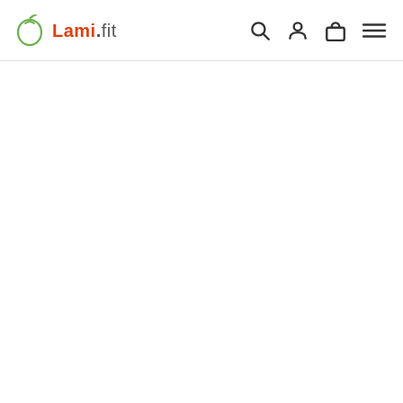Lami.fit — navigation header with logo and icons (search, account, cart, menu)
[Figure (logo): Lami.fit logo with a green apple icon above the text, 'Lami' in red/orange and '.fit' in grey]